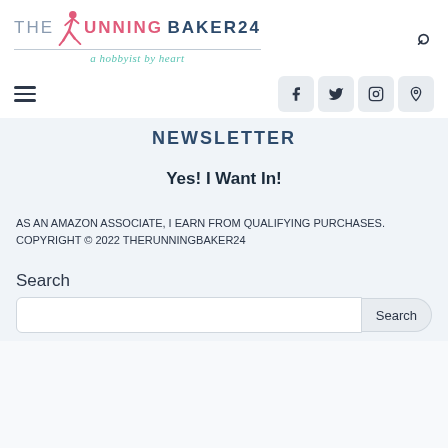[Figure (logo): The Running Baker 24 logo with a female runner icon in pink, text in gray and dark blue, tagline 'a hobbyist by heart' in teal cursive, with a search icon to the right]
[Figure (infographic): Navigation bar with hamburger menu on left and social media icons (Facebook, Twitter, Instagram, Pinterest) on right]
NEWSLETTER
Yes! I Want In!
AS AN AMAZON ASSOCIATE, I EARN FROM QUALIFYING PURCHASES. COPYRIGHT © 2022 THERUNNINGBAKER24
Search
[Figure (screenshot): Search input field with Search button]